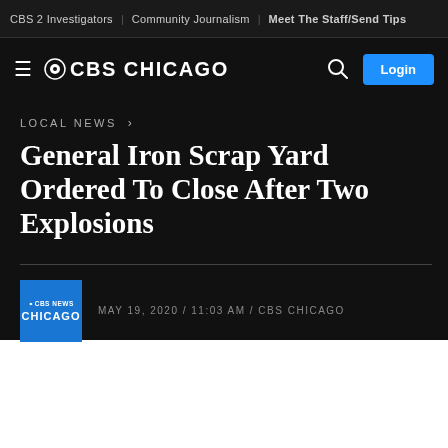CBS 2 Investigators | Community Journalism | Meet The Staff/Send Tips
CBS CHICAGO  Login
LOCAL NEWS ›
General Iron Scrap Yard Ordered To Close After Two Explosions
MAY 19, 2020 / 11:03 AM / CBS CHICAGO